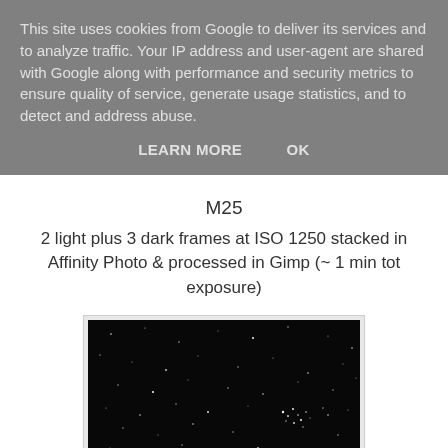This site uses cookies from Google to deliver its services and to analyze traffic. Your IP address and user-agent are shared with Google along with performance and security metrics to ensure quality of service, generate usage statistics, and to detect and address abuse.
LEARN MORE   OK
M25
2 light plus 3 dark frames at ISO 1250 stacked in Affinity Photo & processed in Gimp (~ 1 min tot exposure)
[Figure (photo): Astrophotography image of M25 star cluster — dark/black background with scattered white stars and a slight concentration of stars visible]